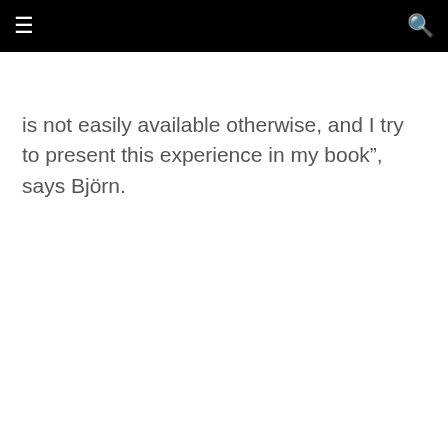≡  🔍
is not easily available otherwise, and I try to present this experience in my book”, says Björn.